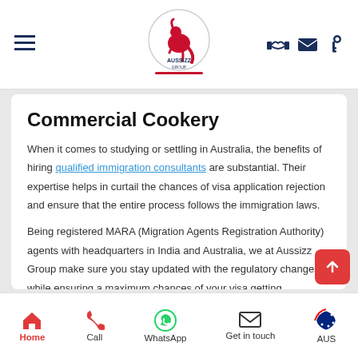Aussizz Group navigation bar with logo, hamburger menu, and icons
Commercial Cookery
When it comes to studying or settling in Australia, the benefits of hiring qualified immigration consultants are substantial. Their expertise helps in curtail the chances of visa application rejection and ensure that the entire process follows the immigration laws.
Being registered MARA (Migration Agents Registration Authority) agents with headquarters in India and Australia, we at Aussizz Group make sure you stay updated with the regulatory changes while ensuring a maximum chances of your visa getting approved.
Home | Call | WhatsApp | Get in touch | AUS